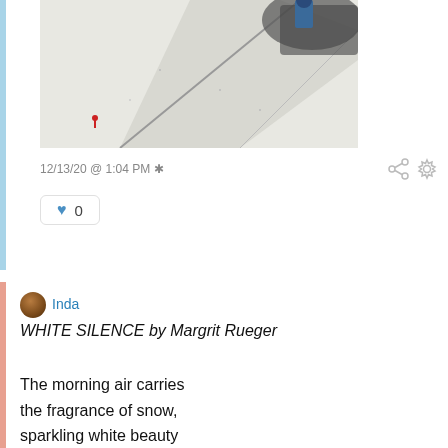[Figure (illustration): Cropped Japanese woodblock print showing a snowy scene with a diagonal road or path, a figure on the right side in dark clothing, and a small figure with a red umbrella on the lower left against a pale grey-white snowy background.]
12/13/20 @ 1:04 PM *
♥ 0
Inda
WHITE SILENCE by Margrit Rueger
The morning air carries
the fragrance of snow,
sparkling white beauty
reflecting in my eyes.